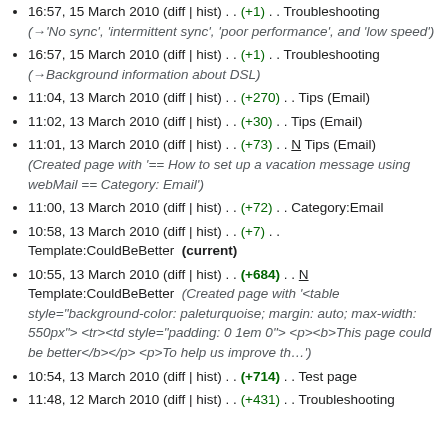16:57, 15 March 2010 (diff | hist) . . (+1) . . Troubleshooting (→'No sync', 'intermittent sync', 'poor performance', and 'low speed')
16:57, 15 March 2010 (diff | hist) . . (+1) . . Troubleshooting (→Background information about DSL)
11:04, 13 March 2010 (diff | hist) . . (+270) . . Tips (Email)
11:02, 13 March 2010 (diff | hist) . . (+30) . . Tips (Email)
11:01, 13 March 2010 (diff | hist) . . (+73) . . N Tips (Email) (Created page with '== How to set up a vacation message using webMail == Category: Email')
11:00, 13 March 2010 (diff | hist) . . (+72) . . Category:Email
10:58, 13 March 2010 (diff | hist) . . (+7) . . Template:CouldBeBetter  (current)
10:55, 13 March 2010 (diff | hist) . . (+684) . . N Template:CouldBeBetter  (Created page with '<table style="background-color: paleturquoise; margin: auto; max-width: 550px"> <tr><td style="padding: 0 1em 0"> <p><b>This page could be better</b></p> <p>To help us improve th...')
10:54, 13 March 2010 (diff | hist) . . (+714) . . Test page
11:48, 12 March 2010 (diff | hist) . . (+431) . . Troubleshooting